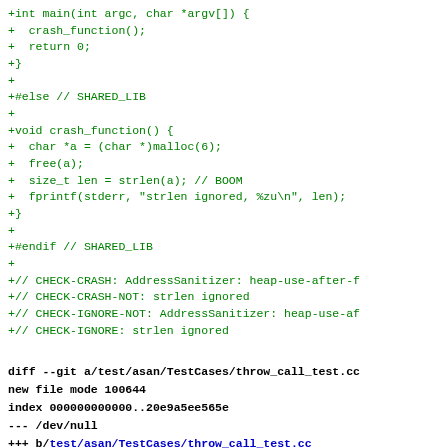Code diff showing C source additions and git diff header for throw_call_test.cc